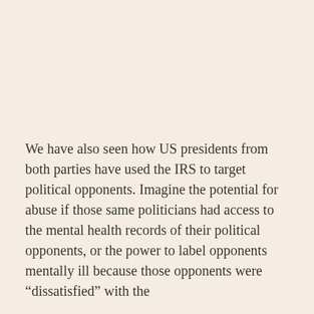We have also seen how US presidents from both parties have used the IRS to target political opponents. Imagine the potential for abuse if those same politicians had access to the mental health records of their political opponents, or the power to label opponents mentally ill because those opponents were “dissatisfied” with the